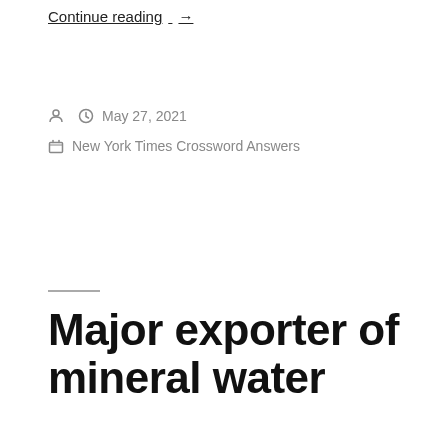Continue reading →
Posted by  May 27, 2021
New York Times Crossword Answers
Major exporter of mineral water